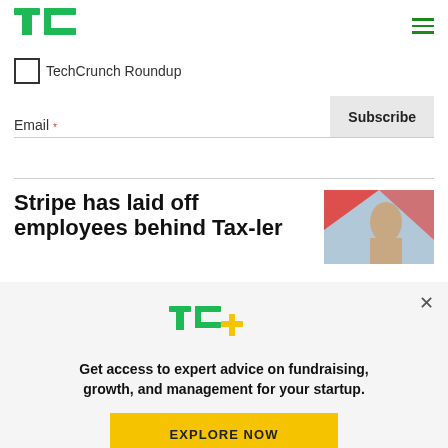TechCrunch
TechCrunch Roundup
Email *
Subscribe
Stripe has laid off employees behind Tax-ler
[Figure (photo): Photo of a person with reddish/blonde hair against a blue background with red geometric shapes]
[Figure (logo): TC+ logo in green with yellow plus sign]
Get access to expert advice on fundraising, growth, and management for your startup.
EXPLORE NOW